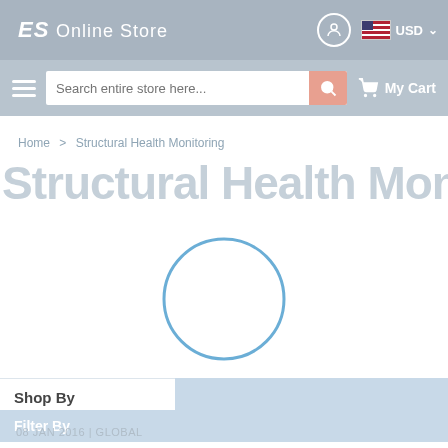ES Online Store  USD
Search entire store here...  My Cart
Home > Structural Health Monitoring
Structural Health Monitoring
[Figure (other): Loading spinner circle (blue outline circle indicating page loading state)]
Shop By
Filter By
08 JAN 2016 | GLOBAL